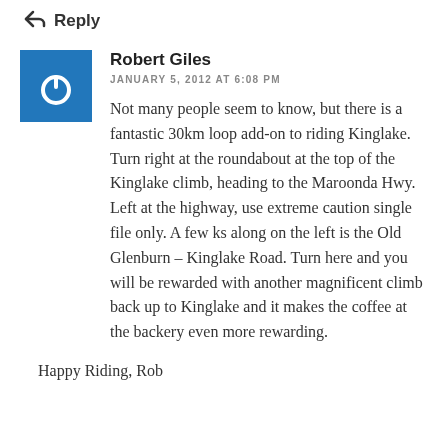↩ Reply
[Figure (logo): Blue square avatar with white power button icon]
Robert Giles
JANUARY 5, 2012 AT 6:08 PM
Not many people seem to know, but there is a fantastic 30km loop add-on to riding Kinglake. Turn right at the roundabout at the top of the Kinglake climb, heading to the Maroonda Hwy. Left at the highway, use extreme caution single file only. A few ks along on the left is the Old Glenburn – Kinglake Road. Turn here and you will be rewarded with another magnificent climb back up to Kinglake and it makes the coffee at the backery even more rewarding.
Happy Riding, Rob